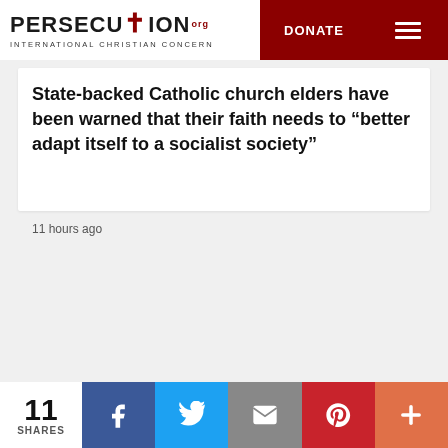PERSECUTION.org INTERNATIONAL CHRISTIAN CONCERN | DONATE | Menu
State-backed Catholic church elders have been warned that their faith needs to “better adapt itself to a socialist society”
11 hours ago
11 SHARES | Facebook | Twitter | Email | Pinterest | More